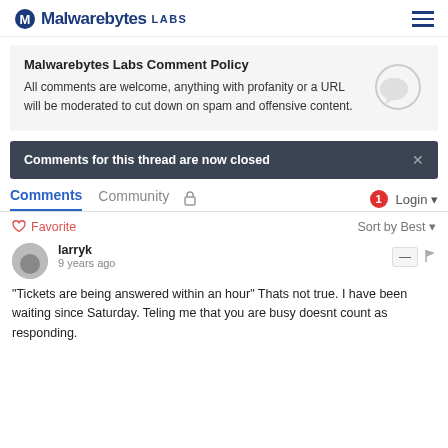Malwarebytes LABS
Malwarebytes Labs Comment Policy
All comments are welcome, anything with profanity or a URL will be moderated to cut down on spam and offensive content.
Comments for this thread are now closed
Comments  Community  [lock icon]  [1 notification]  Login
♡ Favorite    Sort by Best
larryk
9 years ago
"Tickets are being answered within an hour" Thats not true. I have been waiting since Saturday. Teling me that you are busy doesnt count as responding.